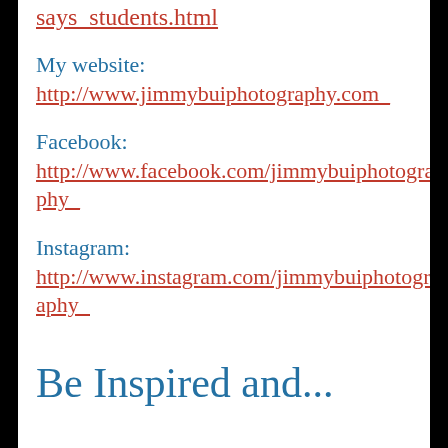says_students.html
My website:
http://www.jimmybuiphotography.com_
Facebook:
http://www.facebook.com/jimmybuiphotography_
Instagram:
http://www.instagram.com/jimmybuiphotography_
Be Inspired and...